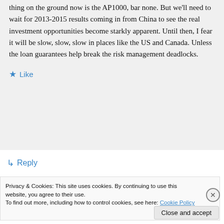thing on the ground now is the AP1000, bar none. But we'll need to wait for 2013-2015 results coming in from China to see the real investment opportunities become starkly apparent. Until then, I fear it will be slow, slow, slow in places like the US and Canada. Unless the loan guarantees help break the risk management deadlocks.
★ Like
↳ Reply
Privacy & Cookies: This site uses cookies. By continuing to use this website, you agree to their use.
To find out more, including how to control cookies, see here: Cookie Policy
Close and accept